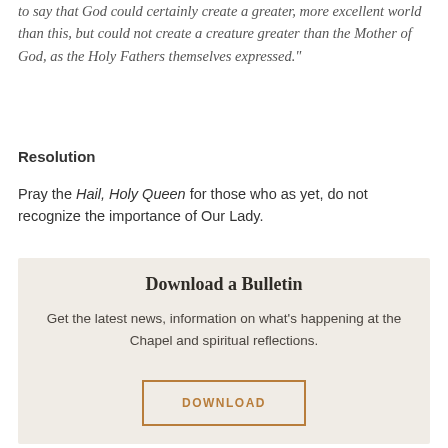to say that God could certainly create a greater, more excellent world than this, but could not create a creature greater than the Mother of God, as the Holy Fathers themselves expressed."
Resolution
Pray the Hail, Holy Queen for those who as yet, do not recognize the importance of Our Lady.
Download a Bulletin
Get the latest news, information on what's happening at the Chapel and spiritual reflections.
DOWNLOAD